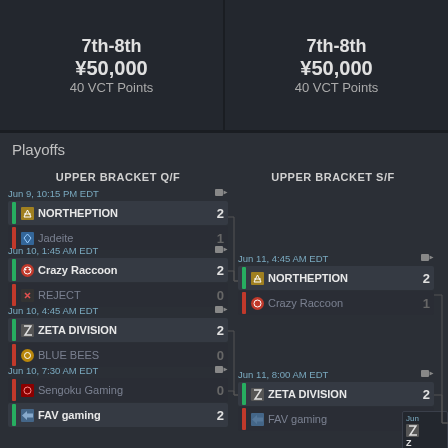7th-8th
¥50,000
40 VCT Points
7th-8th
¥50,000
40 VCT Points
Playoffs
UPPER BRACKET Q/F
UPPER BRACKET S/F
Jun 9, 10:15 PM EDT
NORTHEPTION 2
Jadeite 1
Jun 10, 1:45 AM EDT
Crazy Raccoon 2
REJECT 0
Jun 10, 4:45 AM EDT
ZETA DIVISION 2
BLUE BEES 0
Jun 10, 7:30 AM EDT
Sengoku Gaming 0
FAV gaming 2
Jun 11, 4:45 AM EDT
NORTHEPTION 2
Crazy Raccoon 1
Jun 11, 8:00 AM EDT
ZETA DIVISION 2
FAV gaming 0